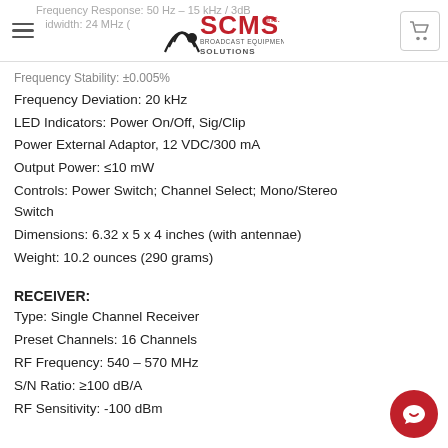SCMS Inc. Broadcast Equipment Solutions — navigation header with logo and cart
Frequency Response: 50 Hz – 15 kHz / 3dB
Bandwidth: 24 MHz (FM Stereo)
Frequency Stability: ±0.005%
Frequency Deviation: 20 kHz
LED Indicators: Power On/Off, Sig/Clip
Power External Adaptor, 12 VDC/300 mA
Output Power: ≤10 mW
Controls: Power Switch; Channel Select; Mono/Stereo Switch
Dimensions: 6.32 x 5 x 4 inches (with antennae)
Weight: 10.2 ounces (290 grams)
RECEIVER:
Type: Single Channel Receiver
Preset Channels: 16 Channels
RF Frequency: 540 – 570 MHz
S/N Ratio: ≥100 dB/A
RF Sensitivity: -100 dBm